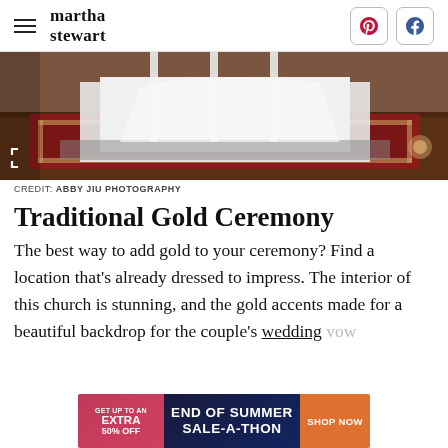martha stewart
[Figure (photo): Wedding ceremony interior photo showing white fabric/draping, decorative rug, and church setting with gold accents]
CREDIT: ABBY JIU PHOTOGRAPHY
Traditional Gold Ceremony
The best way to add gold to your ceremony? Find a location that's already dressed to impress. The interior of this church is stunning, and the gold accents made for a beautiful backdrop for the couple's wedding vows.
[Figure (infographic): Advertisement banner: GET UP TO AN EXTRA 50% OFF — END OF SUMMER SALE-A-THON — SHOP NOW]